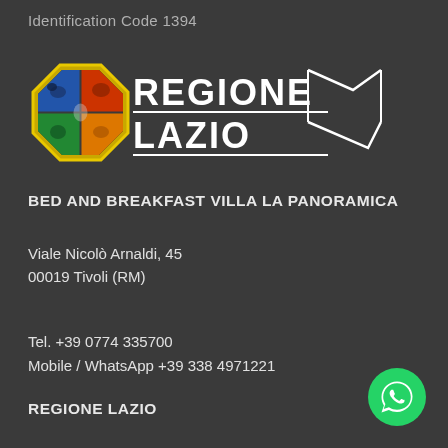Identification Code 1394
[Figure (logo): Regione Lazio logo with octagonal emblem and text REGIONE LAZIO with geometric chevron design]
BED AND BREAKFAST VILLA LA PANORAMICA
Viale Nicolò Arnaldi, 45
00019 Tivoli (RM)
Tel. +39 0774 335700
Mobile / WhatsApp +39 338 4971221
REGIONE LAZIO
[Figure (logo): WhatsApp green circle button with phone/chat icon]